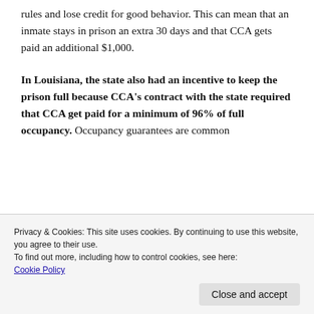rules and lose credit for good behavior. This can mean that an inmate stays in prison an extra 30 days and that CCA gets paid an additional $1,000.
In Louisiana, the state also had an incentive to keep the prison full because CCA's contract with the state required that CCA get paid for a minimum of 96% of full occupancy. Occupancy guarantees are common
Privacy & Cookies: This site uses cookies. By continuing to use this website, you agree to their use.
To find out more, including how to control cookies, see here:
Cookie Policy